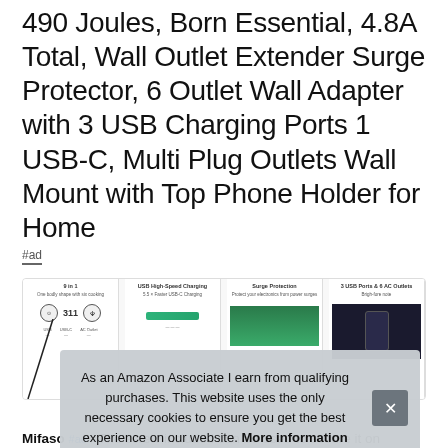490 Joules, Born Essential, 4.8A Total, Wall Outlet Extender Surge Protector, 6 Outlet Wall Adapter with 3 USB Charging Ports 1 USB-C, Multi Plug Outlets Wall Mount with Top Phone Holder for Home
#ad
[Figure (screenshot): Four product image thumbnails showing: 1) 9-in-1 product icons with USB symbols, 2) USB High-Speed Charging bar graphic, 3) Surge Protection green image, 4) 3 USB Ports & 6 AC Outlets with device photo]
As an Amazon Associate I earn from qualifying purchases. This website uses the only necessary cookies to ensure you get the best experience on our website. More information
Mifaso #ad · The screw included can be used to secure it on